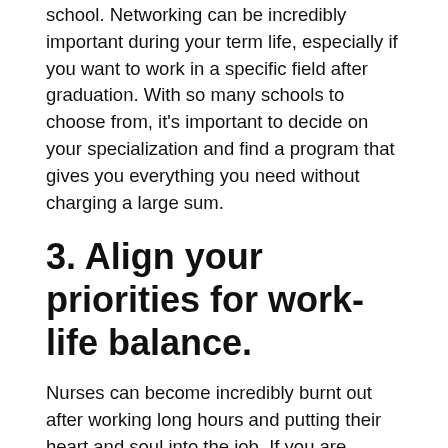school. Networking can be incredibly important during your term life, especially if you want to work in a specific field after graduation. With so many schools to choose from, it's important to decide on your specialization and find a program that gives you everything you need without charging a large sum.
3. Align your priorities for work-life balance.
Nurses can become incredibly burnt out after working long hours and putting their heart and soul into the job. If you are working and studying at the same time, your mental health could take a hit. This is a friendly reminder that you can't do everything yourself, and work-life balance is important. Take some time off when needed, make sure you still have a bit of a social life, and align your priorities, so you don't get